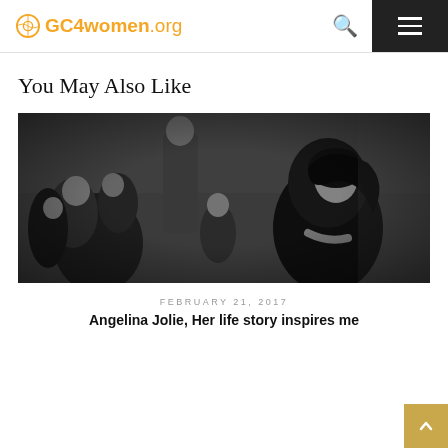GC4women.org
You May Also Like
[Figure (photo): Black and white photo of a woman in a dark headscarf sitting among a group of people, including children, in a sparse setting]
FEBRUARY 21, 2017
Angelina Jolie, Her life story inspires me